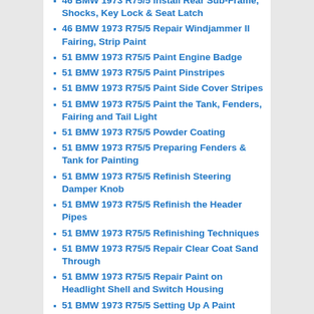46 BMW 1973 R75/5 Install Rear Sub-Frame, Shocks, Key Lock & Seat Latch
46 BMW 1973 R75/5 Repair Windjammer II Fairing, Strip Paint
51 BMW 1973 R75/5 Paint Engine Badge
51 BMW 1973 R75/5 Paint Pinstripes
51 BMW 1973 R75/5 Paint Side Cover Stripes
51 BMW 1973 R75/5 Paint the Tank, Fenders, Fairing and Tail Light
51 BMW 1973 R75/5 Powder Coating
51 BMW 1973 R75/5 Preparing Fenders & Tank for Painting
51 BMW 1973 R75/5 Refinish Steering Damper Knob
51 BMW 1973 R75/5 Refinish the Header Pipes
51 BMW 1973 R75/5 Refinishing Techniques
51 BMW 1973 R75/5 Repair Clear Coat Sand Through
51 BMW 1973 R75/5 Repair Paint on Headlight Shell and Switch Housing
51 BMW 1973 R75/5 Setting Up A Paint Booth